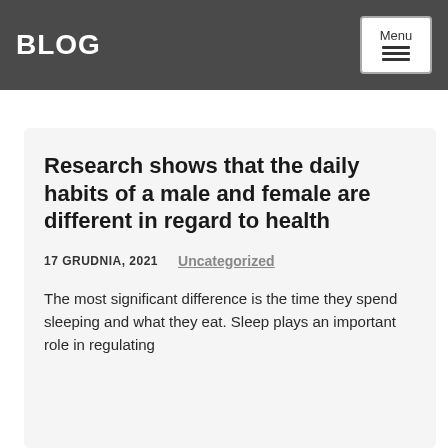BLOG
Research shows that the daily habits of a male and female are different in regard to health
17 GRUDNIA, 2021    Uncategorized
The most significant difference is the time they spend sleeping and what they eat. Sleep plays an important role in regulating